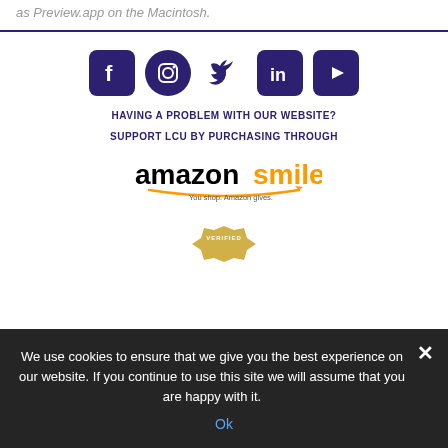as Preview.app on the Macintosh.
[Figure (infographic): Social media icons row: Facebook (rounded square), Instagram (circle), Twitter (bird), LinkedIn (rounded square), YouTube (rounded square), all in dark purple/indigo color]
HAVING A PROBLEM WITH OUR WEBSITE?
SUPPORT LCU BY PURCHASING THROUGH
[Figure (logo): Amazon Smile logo: 'amazonsmile' text in black/orange with arrow smile and tagline 'You shop. Amazon gives.']
[Figure (other): Partial verified seal/badge in gold at bottom]
We use cookies to ensure that we give you the best experience on our website. If you continue to use this site we will assume that you are happy with it.
Ok